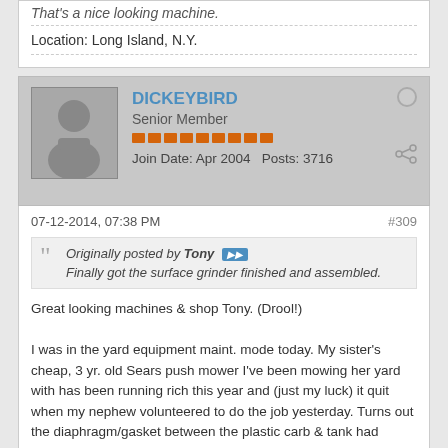That's a nice looking machine.
Location: Long Island, N.Y.
DICKEYBIRD
Senior Member
Join Date: Apr 2004   Posts: 3716
07-12-2014, 07:38 PM
#309
Originally posted by Tony
Finally got the surface grinder finished and assembled.
Great looking machines & shop Tony. (Drool!)

I was in the yard equipment maint. mode today. My sister’s cheap, 3 yr. old Sears push mower I’ve been mowing her yard with has been running rich this year and (just my luck) it quit when my nephew volunteered to do the job yesterday. Turns out the diaphragm/gasket between the plastic carb & tank had shrunk up allowing extra fuel to leak into the venturi. $3.10 + tax, an agonizing drive in heavy traffic to get to the Briggs dealer, 30 minutes of easy work & a spark plug clean